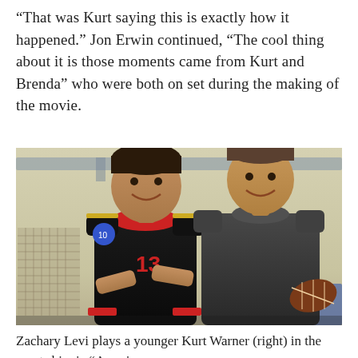“That was Kurt saying this is exactly how it happened.” Jon Erwin continued, “The cool thing about it is those moments came from Kurt and Brenda” who were both on set during the making of the movie.
[Figure (photo): Two men posing together smiling. The man on the left wears a black football jersey with red accents and has his arms crossed. The man on the right wears a dark gray hoodie and holds a football under his arm. They appear to be in a gymnasium or locker room setting with a yellow-green wall behind them.]
Zachary Levi plays a younger Kurt Warner (right) in the sports biopic “American